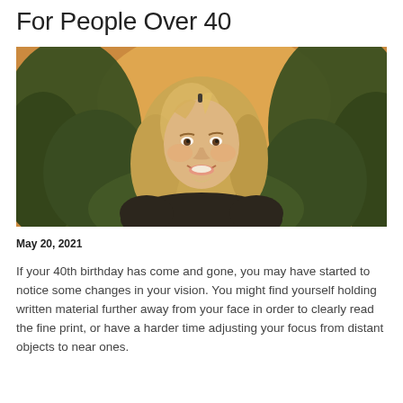For People Over 40
[Figure (photo): Outdoor portrait of a smiling middle-aged woman with blonde shoulder-length hair, wearing a black top, with green trees and warm sunset light in the background.]
May 20, 2021
If your 40th birthday has come and gone, you may have started to notice some changes in your vision. You might find yourself holding written material further away from your face in order to clearly read the fine print, or have a harder time adjusting your focus from distant objects to near ones.